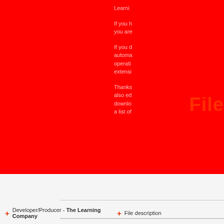Learni...
If you h... you are...
If you d... automa... operati... extensi...
Thanks... also ed... downlo... a list of...
File
+ Developer/Producer - The Learning Company
+ File description